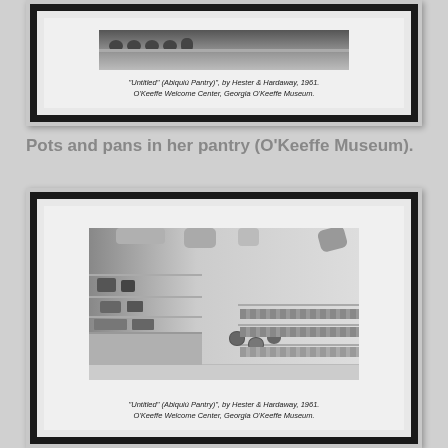[Figure (photo): Framed black-and-white photograph of pots and pans displayed on a shelf in a pantry, top portion cropped, shown in a black frame with white mat.]
"Untitled" (Abiquiú Pantry)", by Hester & Hardaway, 1961.
O'Keeffe Welcome Center, Georgia O'Keeffe Museum.
Pots and pans in her pantry (O'Keeffe Museum).
[Figure (photo): Framed black-and-white photograph of a full pantry room with shelves of pots, pans, canned goods, baskets and pottery hanging from ceiling, shown in a black frame with white mat.]
"Untitled" (Abiquiú Pantry)", by Hester & Hardaway, 1961.
O'Keeffe Welcome Center, Georgia O'Keeffe Museum.